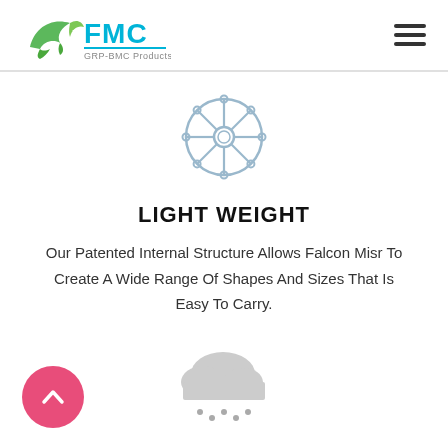[Figure (logo): FMC GRP-BMC Products logo with green falcon bird icon and blue FMC text]
[Figure (illustration): Ship steering wheel / helm icon in light blue outline style]
LIGHT WEIGHT
Our Patented Internal Structure Allows Falcon Misr To Create A Wide Range Of Shapes And Sizes That Is Easy To Carry.
[Figure (illustration): Cloud with rain drops icon in light gray]
[Figure (illustration): Pink circular back-to-top button with upward chevron arrow]